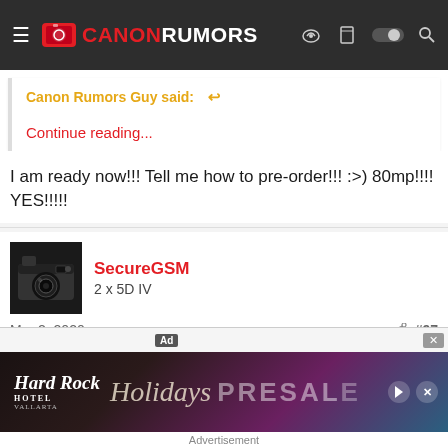CANON RUMORS
Canon Rumors Guy said: ↩
Continue reading...
I am ready now!!! Tell me how to pre-order!!! :>) 80mp!!!! YES!!!!!
SecureGSM
2 x 5D IV
Mar 2, 2020  #97
Danphoto said: ↩
I am r...
[Figure (screenshot): Hard Rock Hotel Vallarta holiday presale advertisement banner]